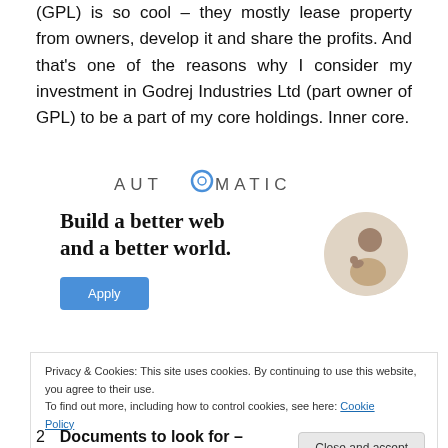(GPL) is so cool – they mostly lease property from owners, develop it and share the profits. And that's one of the reasons why I consider my investment in Godrej Industries Ltd (part owner of GPL) to be a part of my core holdings. Inner core.
[Figure (logo): Automattic logo with stylized O in teal/blue]
[Figure (infographic): Automattic advertisement banner with headline 'Build a better web and a better world.' and Apply button, with photo of person thinking]
Privacy & Cookies: This site uses cookies. By continuing to use this website, you agree to their use.
To find out more, including how to control cookies, see here: Cookie Policy
2  Documents to look for –